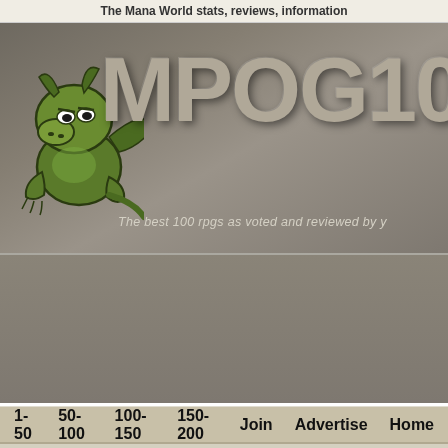The Mana World stats, reviews, information
[Figure (logo): MPOG100 website banner with green cartoon dragon mascot and large stylized text 'MPOG100' with tagline 'The best 100 rpgs as voted and reviewed by y']
[Figure (other): Gray advertisement block]
1-50   50-100   100-150   150-200   Join   Advertise   Home
The Mana World Listing Details